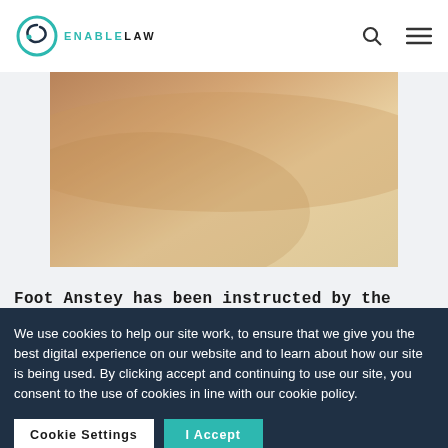ENABLE LAW
[Figure (photo): Close-up blurred photo of a person's bare shoulder/back, warm beige-brown tones]
Foot Anstey has been instructed by the family of a former resident of Clinton
We use cookies to help our site work, to ensure that we give you the best digital experience on our website and to learn about how our site is being used. By clicking accept and continuing to use our site, you consent to the use of cookies in line with our cookie policy.
Cookie Settings | I Accept | I Do Not Accept